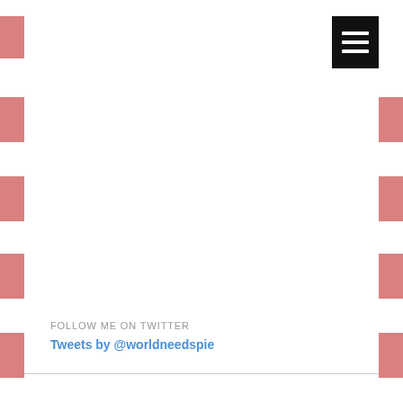[Figure (other): Black hamburger/menu button with three white horizontal lines, top right corner]
[Figure (illustration): Decorative pink rectangular blocks along left and right edges of page, repeated vertically]
FOLLOW ME ON TWITTER
Tweets by @worldneedspie